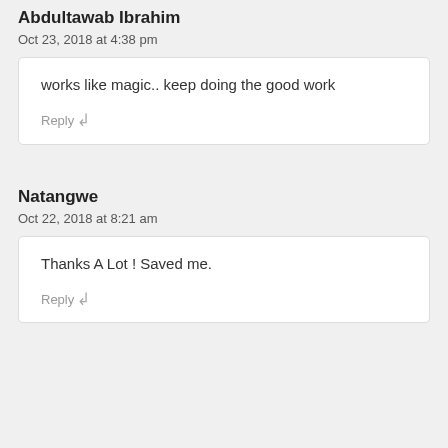Abdultawab Ibrahim
Oct 23, 2018 at 4:38 pm
works like magic.. keep doing the good work
Reply
Natangwe
Oct 22, 2018 at 8:21 am
Thanks A Lot ! Saved me.
Reply